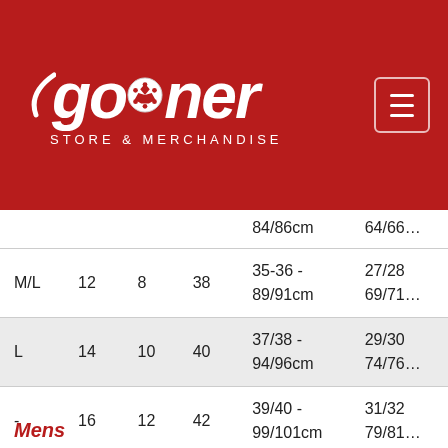[Figure (logo): The Gooner Store & Merchandise logo on red background with hamburger menu button]
| Size | UK | US | EU | Chest | Waist |
| --- | --- | --- | --- | --- | --- |
|  |  |  |  | 84/86cm | 64/66cm |
| M/L | 12 | 8 | 38 | 35-36 - 89/91cm | 27/28 - 69/71cm |
| L | 14 | 10 | 40 | 37/38 - 94/96cm | 29/30 - 74/76cm |
| - | 16 | 12 | 42 | 39/40 - 99/101cm | 31/32 - 79/81cm |
| - | 18 | 14 | 44 | 41/42 - 104/106cm | 33/34 - 84/86cm |
Mens